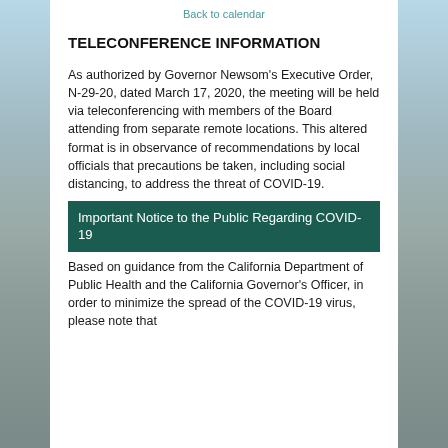Back to calendar
TELECONFERENCE INFORMATION
As authorized by Governor Newsom's Executive Order, N-29-20, dated March 17, 2020, the meeting will be held via teleconferencing with members of the Board attending from separate remote locations. This altered format is in observance of recommendations by local officials that precautions be taken, including social distancing, to address the threat of COVID-19.
Important Notice to the Public Regarding COVID-19
Based on guidance from the California Department of Public Health and the California Governor's Officer, in order to minimize the spread of the COVID-19 virus, please note that